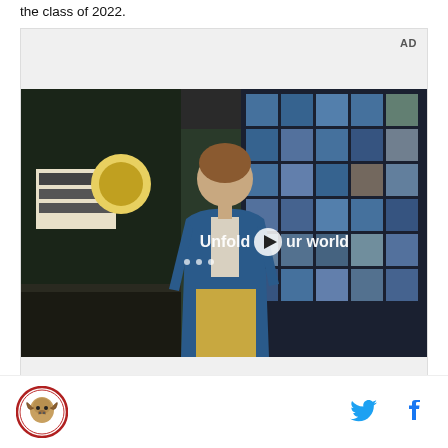the class of 2022.
[Figure (screenshot): An advertisement video player showing a young man walking in what appears to be a school cafeteria setting. The video has a large grid window wall in the background with blue and teal panels. Overlaid text reads 'Unfold your world' with a play button in the middle. An 'AD' label appears in the top-right corner of the ad unit.]
[Figure (logo): Circular red-bordered logo with a lion/ram mascot illustration in brown tones]
[Figure (other): Twitter bird icon in blue]
[Figure (other): Facebook 'f' icon in dark blue/navy]